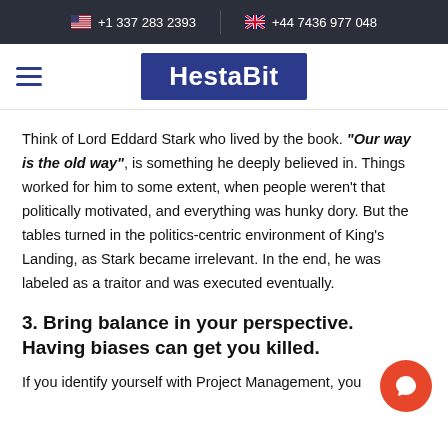+1 337 283 2393   +44 7436 977 048
[Figure (logo): HestaBit logo — white bold text on dark blue rectangular background, with hamburger menu icon to the left]
Think of Lord Eddard Stark who lived by the book. "Our way is the old way", is something he deeply believed in. Things worked for him to some extent, when people weren't that politically motivated, and everything was hunky dory. But the tables turned in the politics-centric environment of King's Landing, as Stark became irrelevant. In the end, he was labeled as a traitor and was executed eventually.
3. Bring balance in your perspective. Having biases can get you killed.
If you identify yourself with Project Management, you